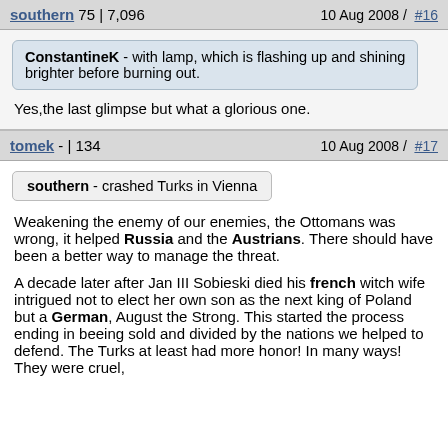southern 75 | 7,096    10 Aug 2008 /  #16
ConstantineK - with lamp, which is flashing up and shining brighter before burning out.
Yes,the last glimpse but what a glorious one.
tomek - | 134    10 Aug 2008 /  #17
southern - crashed Turks in Vienna
Weakening the enemy of our enemies, the Ottomans was wrong, it helped Russia and the Austrians. There should have been a better way to manage the threat.
A decade later after Jan III Sobieski died his french witch wife intrigued not to elect her own son as the next king of Poland but a German, August the Strong. This started the process ending in beeing sold and divided by the nations we helped to defend. The Turks at least had more honor! In many ways! They were cruel,